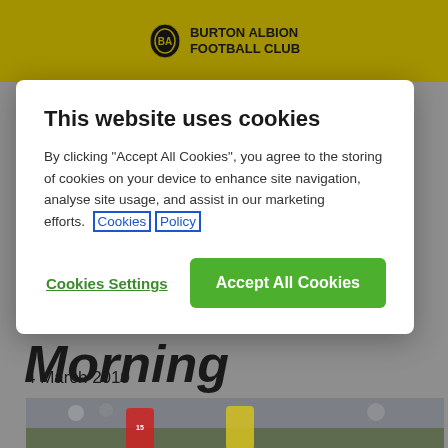[Figure (screenshot): Burton Albion Football Club website screenshot showing yellow header with club logo, partially visible article title and date '4 March 2019', football match photo, overlaid with a cookie consent modal dialog]
This website uses cookies
By clicking "Accept All Cookies", you agree to the storing of cookies on your device to enhance site navigation, analyse site usage, and assist in our marketing efforts.   Cookies Policy
Cookies Settings
Accept All Cookies
4 March 2019